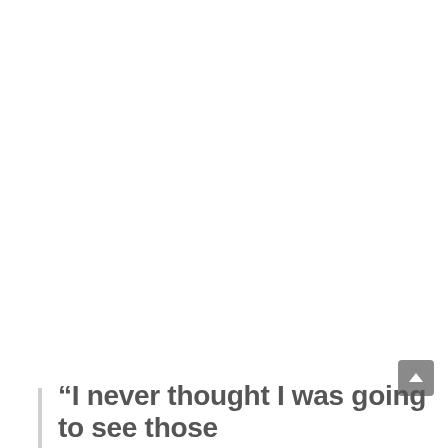“I never thought I was going to see those